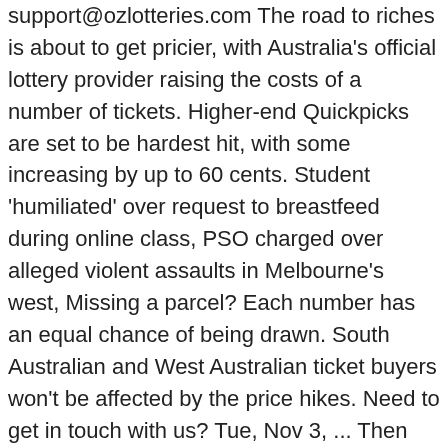support@ozlotteries.com The road to riches is about to get pricier, with Australia's official lottery provider raising the costs of a number of tickets. Higher-end Quickpicks are set to be hardest hit, with some increasing by up to 60 cents. Student 'humiliated' over request to breastfeed during online class, PSO charged over alleged violent assaults in Melbourne's west, Missing a parcel? Each number has an equal chance of being drawn. South Australian and West Australian ticket buyers won't be affected by the price hikes. Need to get in touch with us? Tue, Nov 3, ... Then there is the Systems Entry, which allows players to select more than six numbers to use in the Saturday Lotto. Most prices are set to rise by five to 20 cents, depending on ticket choice. Lotterywest is helping Black Cockatoo Preservation Society of Australia preserve native endangered birds, as the group lost its ability to fundraise due to COVID 19 restrictions. Oz Lotto system tickets increase your chances of winning a prize by playing a wider range of number combinations! Another lucky West